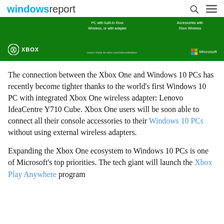windowsreport
[Figure (screenshot): Xbox wireless banner on green background showing Xbox logo, Microsoft logo, text about PC with built-in Xbox Wireless or with adapter, and Accessories with Xbox Wireless, with a URL to xbox.com/xboxwireless]
The connection between the Xbox One and Windows 10 PCs has recently become tighter thanks to the world's first Windows 10 PC with integrated Xbox One wireless adapter: Lenovo IdeaCentre Y710 Cube. Xbox One users will be soon able to connect all their console accessories to their Windows 10 PCs without using external wireless adapters.
Expanding the Xbox One ecosystem to Windows 10 PCs is one of Microsoft's top priorities. The tech giant will launch the Xbox Play Anywhere program